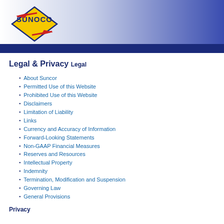Sunoco logo header with blue gradient bar
Legal & Privacy
Legal
About Suncor
Permitted Use of this Website
Prohibited Use of this Website
Disclaimers
Limitation of Liability
Links
Currency and Accuracy of Information
Forward-Looking Statements
Non-GAAP Financial Measures
Reserves and Resources
Intellectual Property
Indemnity
Termination, Modification and Suspension
Governing Law
General Provisions
Privacy